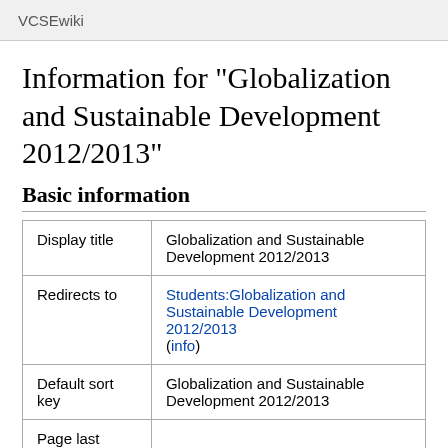VCSEwiki
Information for "Globalization and Sustainable Development 2012/2013"
Basic information
| Display title | Globalization and Sustainable Development 2012/2013 |
| Redirects to | Students:Globalization and Sustainable Development 2012/2013 (info) |
| Default sort key | Globalization and Sustainable Development 2012/2013 |
| Page last modified |  |